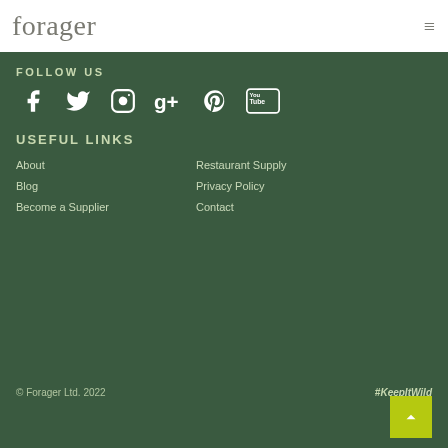forager
FOLLOW US
[Figure (other): Social media icons: Facebook, Twitter, Instagram, Google+, Pinterest, YouTube]
USEFUL LINKS
About
Blog
Become a Supplier
Restaurant Supply
Privacy Policy
Contact
© Forager Ltd. 2022
#KeepItWild